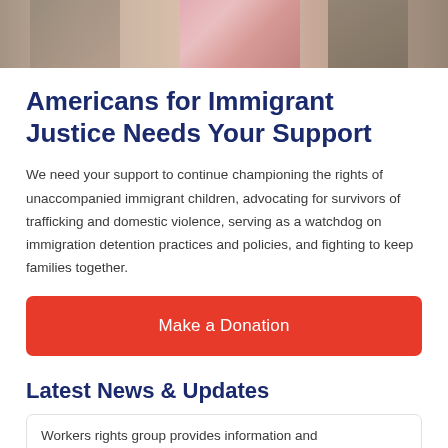[Figure (photo): Photo banner showing people, one wearing a pink checkered outfit, partial street scene]
Americans for Immigrant Justice Needs Your Support
We need your support to continue championing the rights of unaccompanied immigrant children, advocating for survivors of trafficking and domestic violence, serving as a watchdog on immigration detention practices and policies, and fighting to keep families together.
Make a Donation
Latest News & Updates
Workers rights group provides information and